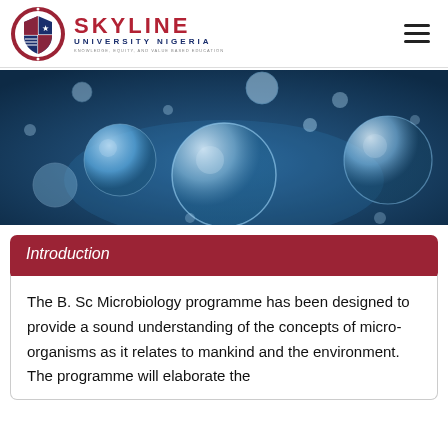Skyline University Nigeria
[Figure (photo): Scientific illustration of blue-tinted spherical micro-organisms/cells floating against a dark blue gradient background]
Introduction
The B. Sc Microbiology programme has been designed to provide a sound understanding of the concepts of micro-organisms as it relates to mankind and the environment. The programme will elaborate the